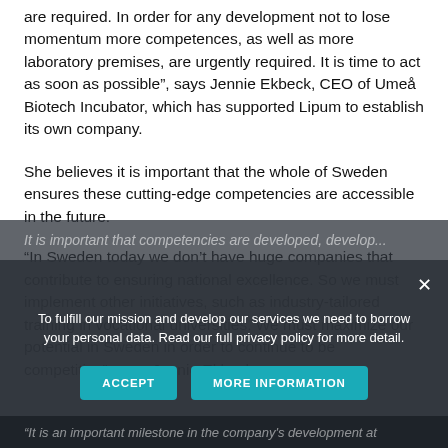are required. In order for any development not to lose momentum more competences, as well as more laboratory premises, are urgently required. It is time to act as soon as possible”, says Jennie Ekbeck, CEO of Umeå Biotech Incubator, which has supported Lipum to establish its own company.
She believes it is important that the whole of Sweden ensures these cutting-edge competencies are accessible in the future.
“In Sweden today we don’t have huge companies that contribute to ensuring national excellence. So we must implement other initiatives, such as industry-tailored training in vocational universities. We must maximize our potential in Sweden in order to continue to be competitive”, says Jennie Ekbeck.
To fulfill our mission and develop our services we need to borrow your personal data. Read our full privacy policy for more detail.